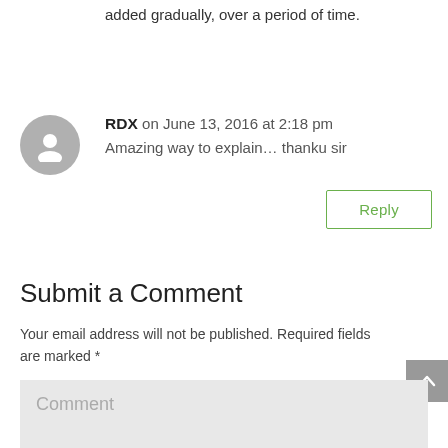added gradually, over a period of time.
RDX on June 13, 2016 at 2:18 pm
Amazing way to explain... thanku sir
Reply
Submit a Comment
Your email address will not be published. Required fields are marked *
Comment